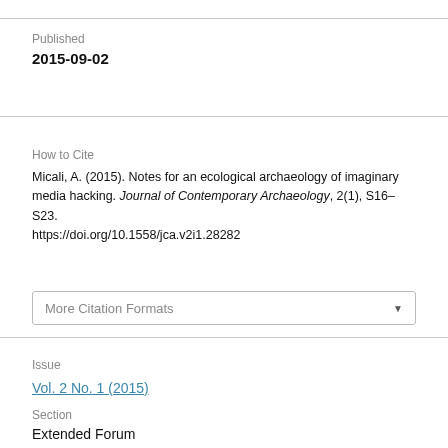Published
2015-09-02
How to Cite
Micali, A. (2015). Notes for an ecological archaeology of imaginary media hacking. Journal of Contemporary Archaeology, 2(1), S16–S23. https://doi.org/10.1558/jca.v2i1.28282
More Citation Formats
Issue
Vol. 2 No. 1 (2015)
Section
Extended Forum